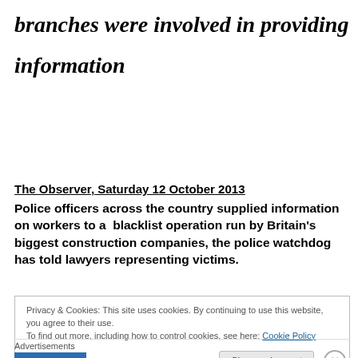branches were involved in providing information
The Observer, Saturday 12 October 2013
Police officers across the country supplied information on workers to a  blacklist operation run by Britain's biggest construction companies, the police watchdog has told lawyers representing victims.
Privacy & Cookies: This site uses cookies. By continuing to use this website, you agree to their use.
To find out more, including how to control cookies, see here: Cookie Policy
Close and accept
Advertisements